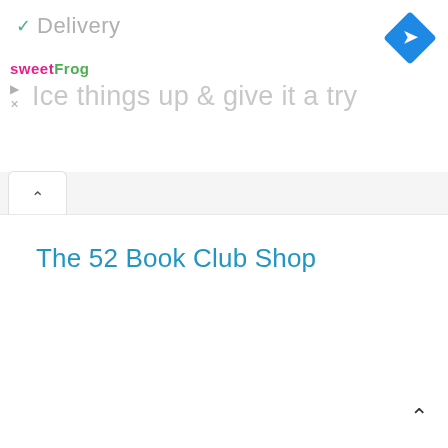✓ Delivery
[Figure (illustration): Blue diamond-shaped navigation turn arrow icon in top right]
[Figure (logo): sweetFrog logo in pink and green text]
Ice things up & give it a try
The 52 Book Club Shop